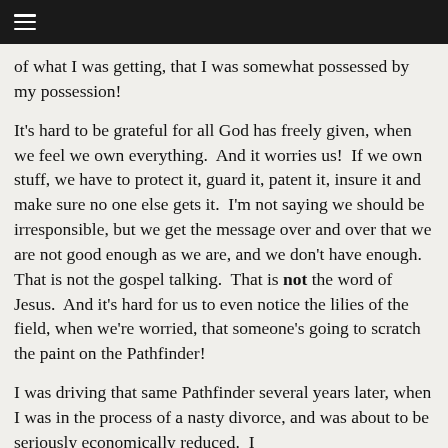≡
of what I was getting, that I was somewhat possessed by my possession!
It's hard to be grateful for all God has freely given, when we feel we own everything.  And it worries us!  If we own stuff, we have to protect it, guard it, patent it, insure it and make sure no one else gets it.  I'm not saying we should be irresponsible, but we get the message over and over that we are not good enough as we are, and we don't have enough.  That is not the gospel talking.  That is not the word of Jesus.  And it's hard for us to even notice the lilies of the field, when we're worried, that someone's going to scratch the paint on the Pathfinder!
I was driving that same Pathfinder several years later, when I was in the process of a nasty divorce, and was about to be seriously economically reduced.  I